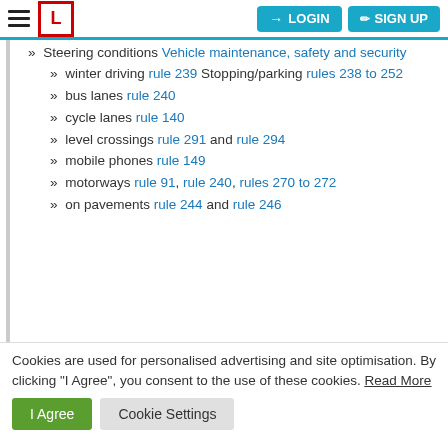LOGIN  SIGN UP
» Steering conditions Vehicle maintenance, safety and security
» winter driving rule 239 Stopping/parking rules 238 to 252
» bus lanes rule 240
» cycle lanes rule 140
» level crossings rule 291 and rule 294
» mobile phones rule 149
» motorways rule 91, rule 240, rules 270 to 272
» on pavements rule 244 and rule 246
Cookies are used for personalised advertising and site optimisation. By clicking "I Agree", you consent to the use of these cookies. Read More